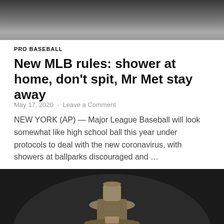[Figure (photo): Top portion of a photo showing people, partially cropped at the top of the page]
PRO BASEBALL
New MLB rules: shower at home, don't spit, Mr Met stay away
May 17, 2020  -  Leave a Comment
NEW YORK (AP) — Major League Baseball will look somewhat like high school ball this year under protocols to deal with the new coronavirus, with showers at ballparks discouraged and …
READ MORE
[Figure (photo): Bottom portion of a photo showing a person wearing a tan/khaki baseball cap, dark background, partially cropped at the bottom of the page]